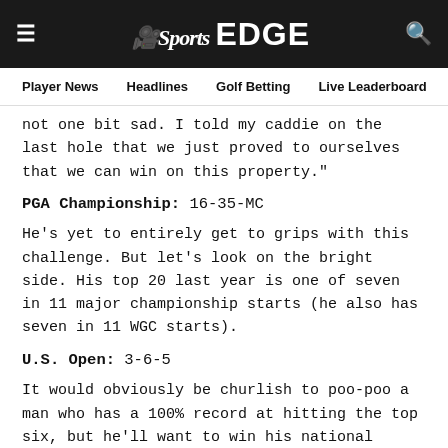NBC Sports EDGE — navigation bar with Player News, Headlines, Golf Betting, Live Leaderboard, DFS To
not one bit sad. I told my caddie on the last hole that we just proved to ourselves that we can win on this property."
PGA Championship: 16-35-MC
He's yet to entirely get to grips with this challenge. But let's look on the bright side. His top 20 last year is one of seven in 11 major championship starts (he also has seven in 11 WGC starts).
U.S. Open: 3-6-5
It would obviously be churlish to poo-poo a man who has a 100% record at hitting the top six, but he'll want to win his national championship and the key to that is getting in-contention after 54 holes, something he is yet to do. In 2017 he was T10 at that stage (five shots